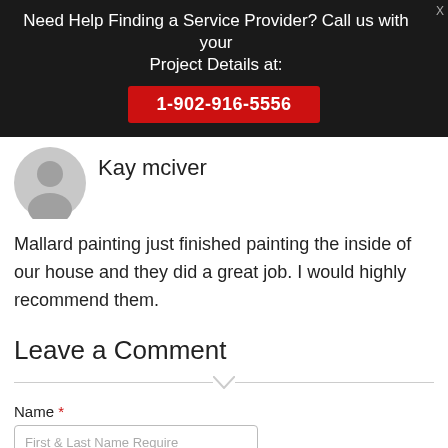Need Help Finding a Service Provider? Call us with your Project Details at: 1-902-916-5556
Kay mciver
Mallard painting just finished painting the inside of our house and they did a great job. I would highly recommend them.
Leave a Comment
Name *
First & Last Name Require
Email *